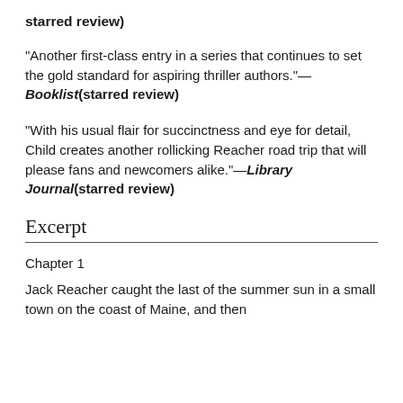starred review)
“Another first-class entry in a series that continues to set the gold standard for aspiring thriller authors.”—Booklist (starred review)
“With his usual flair for succinctness and eye for detail, Child creates another rollicking Reacher road trip that will please fans and newcomers alike.”—Library Journal (starred review)
Excerpt
Chapter 1
Jack Reacher caught the last of the summer sun in a small town on the coast of Maine, and then